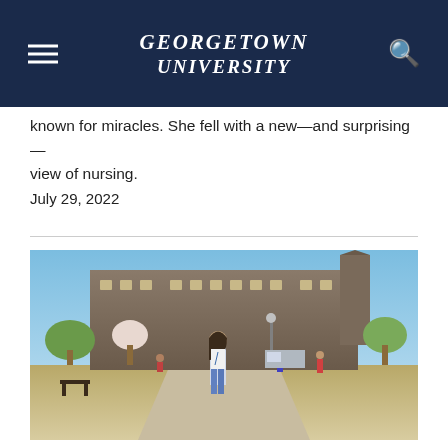Georgetown University
known for miracles. She fell with a new—and surprising—view of nursing.
July 29, 2022
[Figure (photo): A young woman with long dark hair wearing a white shirt and jeans with a lanyard stands on a path on Georgetown University campus, with Healy Hall visible in the background and other students walking nearby. Trees with spring blossoms are visible.]